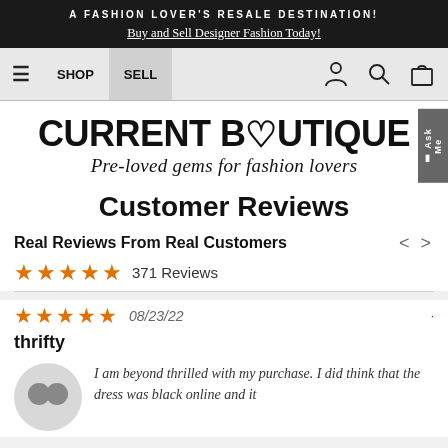A FASHION LOVER'S RESALE DESTINATION! Buy and Sell Designer Fashion Today!
[Figure (screenshot): Navigation bar with hamburger menu, SHOP and SELL buttons, user icon, search icon, bag icon]
[Figure (logo): Current Boutique logo with heart in word BOUTIQUE, tagline: Pre-loved gems for fashion lovers]
Customer Reviews
Real Reviews From Real Customers
★★★★★ 371 Reviews
★★★★★ 08/23/22
thrifty
I am beyond thrilled with my purchase. I did think that the dress was black online and it